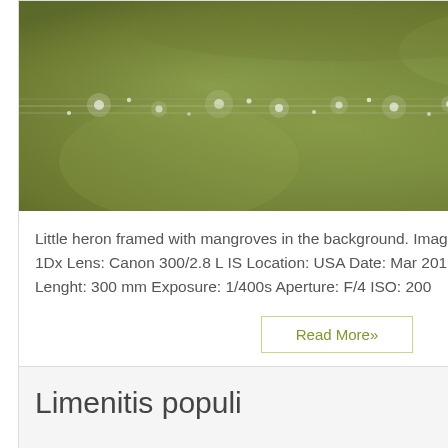[Figure (photo): Close-up photo of water droplets on thin horizontal strands or wires, with a blurred green-brown olive background (mangrove or wetland environment). The drops create a bokeh effect with soft green tones throughout.]
Little heron framed with mangroves in the background. Image Details Camera: Canon 1Dx Lens: Canon 300/2.8 L IS Location: USA Date: Mar 2015 Light: Evening Focal Lenght: 300 mm Exposure: 1/400s Aperture: F/4 ISO: 200
Read More»
Limenitis populi